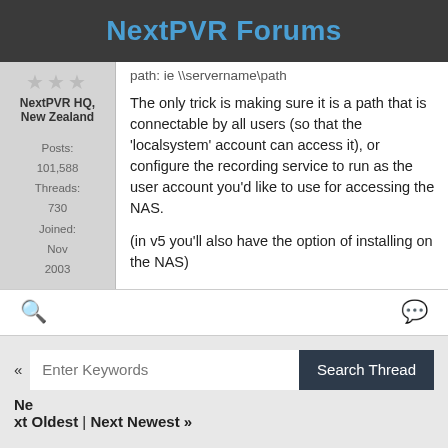NextPVR Forums
path: ie \\servername\path
The only trick is making sure it is a path that is connectable by all users (so that the 'localsystem' account can access it), or configure the recording service to run as the user account you'd like to use for accessing the NAS.
(in v5 you'll also have the option of installing on the NAS)
Posts: 101,588 Threads: 730 Joined: Nov 2003
« Next Oldest | Next Newest »